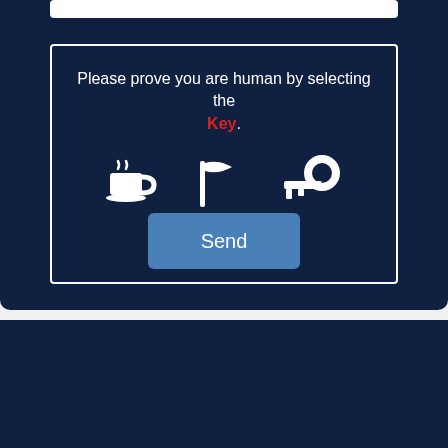[Figure (screenshot): CAPTCHA widget on dark navy background. White top bar. A bordered box contains the text 'Please prove you are human by selecting the Key.' with 'Key' in red. Below are three white icons: a coffee cup, a flag, and a key.]
[Figure (screenshot): Blue 'Send' button centered below the CAPTCHA icon selection area.]
Award-winning management means:
[Figure (screenshot): reCAPTCHA badge in bottom-right corner with spinning arrows icon and 'Privacy - Terms' text at bottom. Next to it a scroll-to-top arrow button.]